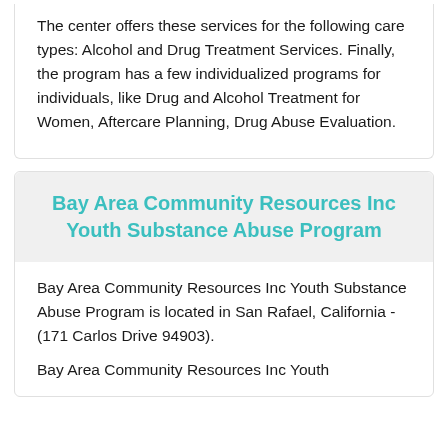The center offers these services for the following care types: Alcohol and Drug Treatment Services. Finally, the program has a few individualized programs for individuals, like Drug and Alcohol Treatment for Women, Aftercare Planning, Drug Abuse Evaluation.
Bay Area Community Resources Inc Youth Substance Abuse Program
Bay Area Community Resources Inc Youth Substance Abuse Program is located in San Rafael, California - (171 Carlos Drive 94903).
Bay Area Community Resources Inc Youth